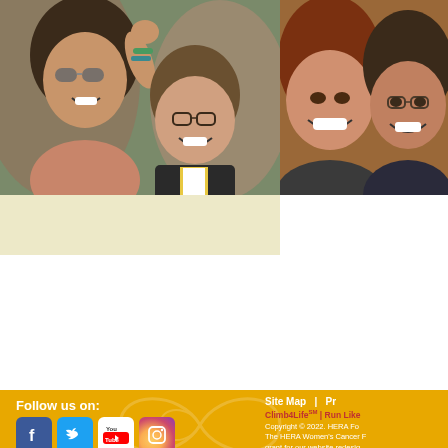disease. With early detection, about percent of ovarian cancer is caught in women and accounts for more de
For a detailed overview of Drs. Sood
[Figure (photo): Two people smiling outdoors — a woman with sunglasses raising her fist and a man with glasses, both happy]
[Figure (photo): Two smiling women close together, one with auburn hair and one with glasses]
Follow us on:
[Figure (logo): Facebook icon]
[Figure (logo): Twitter icon]
[Figure (logo): YouTube icon]
[Figure (logo): Instagram icon]
Site Map | Pr
Climb4Life℠ | Run Like
Copyright © 2022. HERA Fo The HERA Women's Cancer F grant for our website redesign